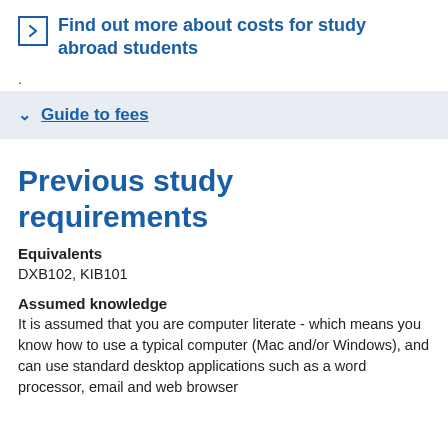Find out more about costs for study abroad students
.
Guide to fees
Previous study requirements
Equivalents
DXB102, KIB101
Assumed knowledge
It is assumed that you are computer literate - which means you know how to use a typical computer (Mac and/or Windows), and can use standard desktop applications such as a word processor, email and web browser